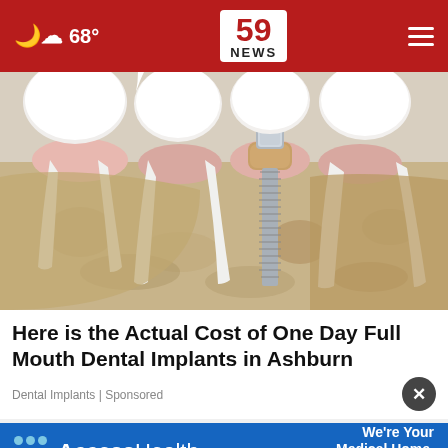68° 59 NEWS
[Figure (illustration): 3D medical illustration of dental implants showing cross-section of jaw bone with natural teeth roots and a metal screw implant in the center, surrounded by bone tissue. Teeth are white with pink gum sections and beige bone visible.]
Here is the Actual Cost of One Day Full Mouth Dental Implants in Ashburn
Dental Implants | Sponsored
[Figure (logo): AccessHealth advertisement banner. Blue background with AccessHealth logo (circular dots pattern) on the left. Text on the right: We're Your Medical Home. More About Us.]